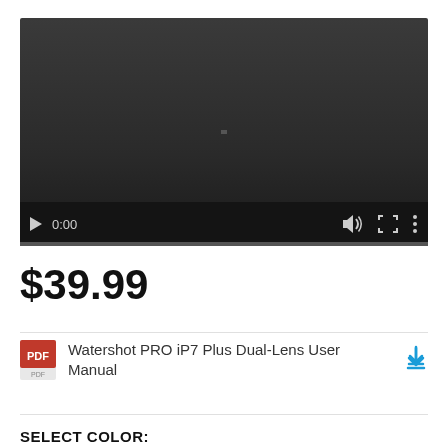[Figure (screenshot): Video player with dark background showing paused state at 0:00, with play button, time display, volume icon, fullscreen icon, and more options icon. Progress bar at bottom.]
$39.99
Watershot PRO iP7 Plus Dual-Lens User Manual
SELECT COLOR: